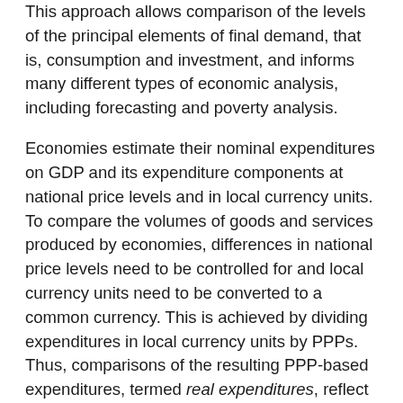This approach allows comparison of the levels of the principal elements of final demand, that is, consumption and investment, and informs many different types of economic analysis, including forecasting and poverty analysis.
Economies estimate their nominal expenditures on GDP and its expenditure components at national price levels and in local currency units. To compare the volumes of goods and services produced by economies, differences in national price levels need to be controlled for and local currency units need to be converted to a common currency. This is achieved by dividing expenditures in local currency units by PPPs. Thus, comparisons of the resulting PPP-based expenditures, termed real expenditures, reflect